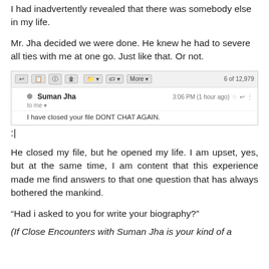I had inadvertently revealed that there was somebody else in my life.
Mr. Jha decided we were done. He knew he had to severe all ties with me at one go. Just like that. Or not.
[Figure (screenshot): Gmail email screenshot showing a message from Suman Jha (3:06 PM, 1 hour ago) with subject/body: 'I have closed your file. DONT CHAT AGAIN.' Toolbar shows 6 of 12,979 emails.]
:|
He closed my file, but he opened my life. I am upset, yes, but at the same time, I am content that this experience made me find answers to that one question that has always bothered the mankind.
“Had i asked to you for write your biography?”
(If Close Encounters with Suman Jha is your kind of a